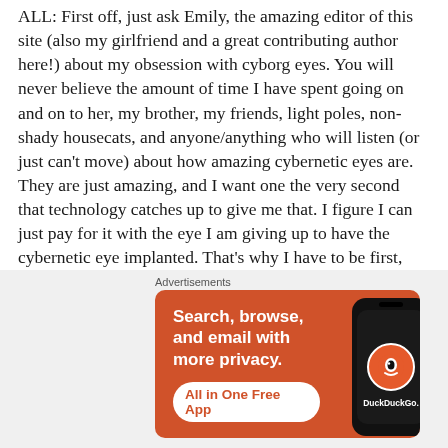ALL: First off, just ask Emily, the amazing editor of this site (also my girlfriend and a great contributing author here!) about my obsession with cyborg eyes. You will never believe the amount of time I have spent going on and on to her, my brother, my friends, light poles, non-shady housecats, and anyone/anything who will listen (or just can't move) about how amazing cybernetic eyes are. They are just amazing, and I want one the very second that technology catches up to give me that. I figure I can just pay for it with the eye I am giving up to have the cybernetic eye implanted. That's why I have to be first, you see, because regular eyes will be dropping in value the way your NES did when the SNES came out. Point being, cybernetic eyes are great, so Deadeye is great to me.
[Figure (other): DuckDuckGo advertisement banner: orange background with text 'Search, browse, and email with more privacy.' and 'All in One Free App' button, with phone graphic showing DuckDuckGo logo]